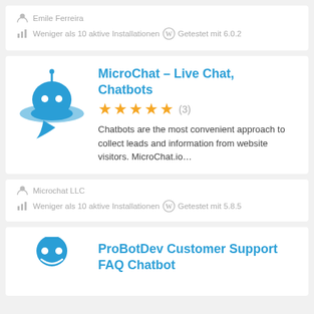Emile Ferreira
Weniger als 10 aktive Installationen  Getestet mit 6.0.2
MicroChat – Live Chat, Chatbots
★★★★★ (3)
Chatbots are the most convenient approach to collect leads and information from website visitors. MicroChat.io…
Microchat LLC
Weniger als 10 aktive Installationen  Getestet mit 5.8.5
ProBotDev Customer Support FAQ Chatbot